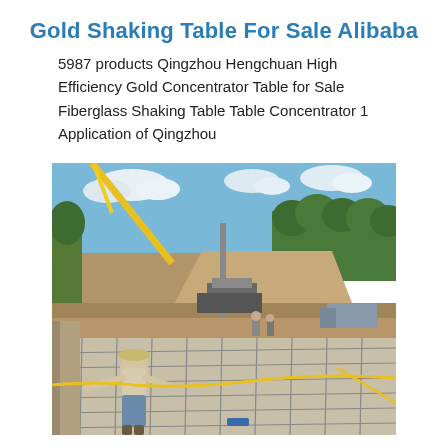Gold Shaking Table For Sale Alibaba
5987 products Qingzhou Hengchuan High Efficiency Gold Concentrator Table for Sale Fiberglass Shaking Table Table Concentrator 1 Application of Qingzhou
[Figure (photo): Outdoor mining construction site showing a worker in a hat and light clothing pulling a yellow rope or cable across a large concrete slab with rebar grid. In the background is an open-pit mine with equipment, a crane arm visible on the left, trees on the hillside, and a blue sky with clouds.]